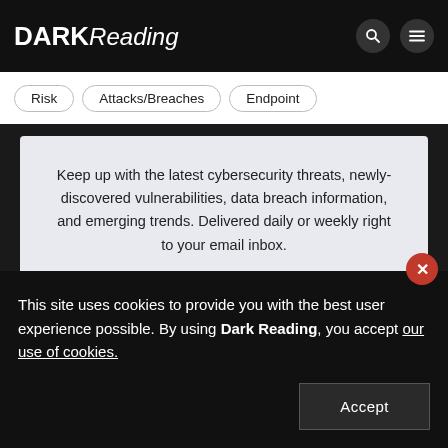DARK Reading
Risk
Attacks/Breaches
Endpoint
Keep up with the latest cybersecurity threats, newly-discovered vulnerabilities, data breach information, and emerging trends. Delivered daily or weekly right to your email inbox.
Subscribe
This site uses cookies to provide you with the best user experience possible. By using Dark Reading, you accept our use of cookies.
Accept